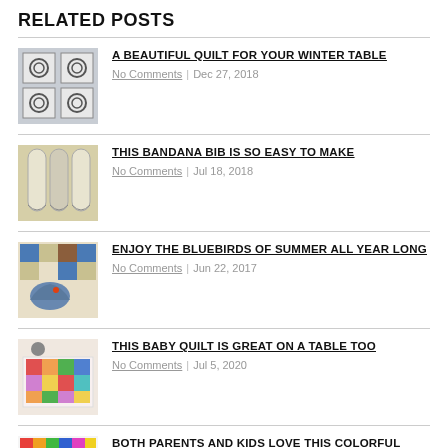RELATED POSTS
A BEAUTIFUL QUILT FOR YOUR WINTER TABLE | No Comments | Dec 27, 2018
THIS BANDANA BIB IS SO EASY TO MAKE | No Comments | Jul 18, 2018
ENJOY THE BLUEBIRDS OF SUMMER ALL YEAR LONG | No Comments | Jun 22, 2017
THIS BABY QUILT IS GREAT ON A TABLE TOO | No Comments | Jul 5, 2020
BOTH PARENTS AND KIDS LOVE THIS COLORFUL QUILT | No Comments | Nov 12, 2019